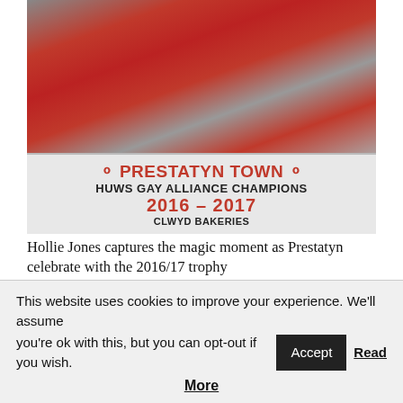[Figure (photo): Football team celebrating with trophy, holding a banner reading 'Prestatyn Town Huws Gay Alliance Champions 2016-2017 Clwyd Bakeries']
Hollie Jones captures the magic moment as Prestatyn celebrate with the 2016/17 trophy
Having won the Cymru Alliance title by 15 points first
This website uses cookies to improve your experience. We'll assume you're ok with this, but you can opt-out if you wish. Accept Read More